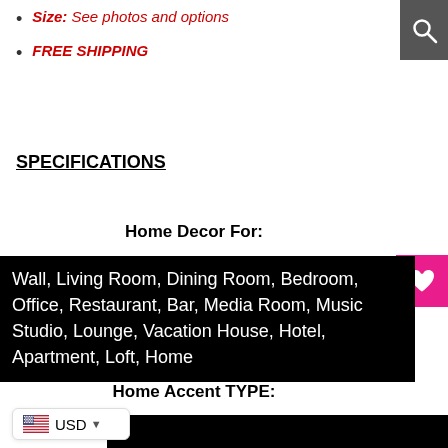Size: See photos and options
FREE SHIPPING
SPECIFICATIONS
Home Decor For:
Wall, Living Room, Dining Room, Bedroom, Office, Restaurant, Bar, Media Room, Music Studio, Lounge, Vacation House, Hotel, Apartment, Loft, Home
Home Accent TYPE: